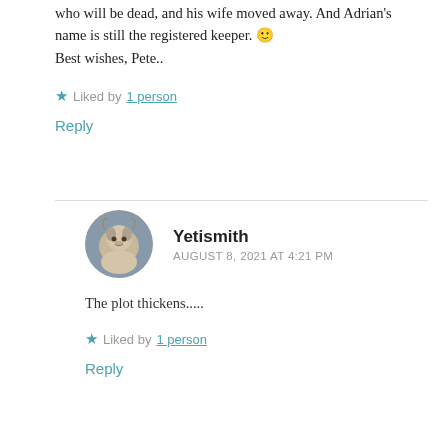who will be dead, and his wife moved away. And Adrian's name is still the registered keeper. 🙂 Best wishes, Pete..
★ Liked by 1 person
Reply
Yetismith
AUGUST 8, 2021 AT 4:21 PM
The plot thickens.....
★ Liked by 1 person
Reply